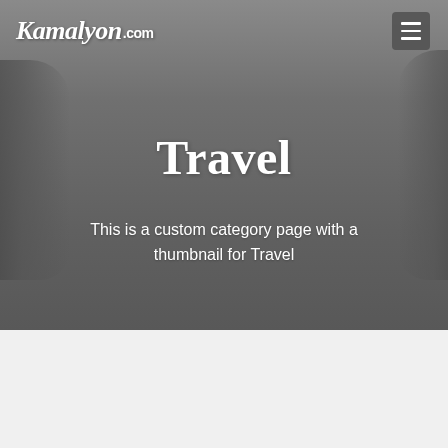Kamalyon.com
Travel
This is a custom category page with a thumbnail for Travel